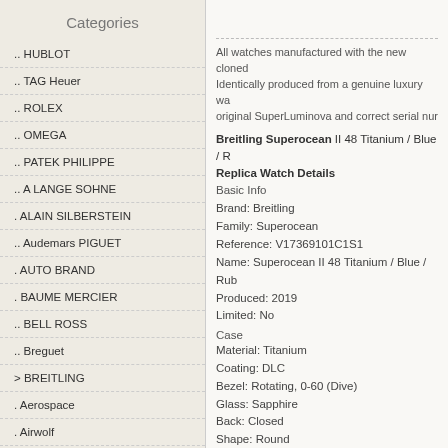Categories
.. HUBLOT
.. TAG Heuer
.. ROLEX
.. OMEGA
.. PATEK PHILIPPE
.. A LANGE SOHNE
. ALAIN SILBERSTEIN
.. Audemars PIGUET
. AUTO BRAND
. BAUME MERCIER
.. BELL ROSS
.. Breguet
> BREITLING
. Aerospace
. Airwolf
. Avenger
. Avenger II
. Aviator
. BLACKBIRD
All watches manufactured with the new cloned Identically produced from a genuine luxury wa original SuperLuminova and correct serial nur
Breitling Superocean II 48 Titanium / Blue / Replica Watch Details
Basic Info
Brand: Breitling
Family: Superocean
Reference: V17369101C1S1
Name: Superocean II 48 Titanium / Blue / Rub
Produced: 2019
Limited: No
Case
Material: Titanium
Coating: DLC
Bezel: Rotating, 0-60 (Dive)
Glass: Sapphire
Back: Closed
Shape: Round
Diameter: 48.00 mm
Height: 17.25 mm
Dial
Color: Blue
Indexes: Mixed